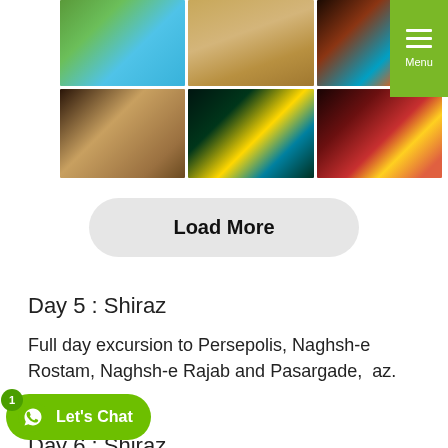[Figure (photo): Grid of 6 travel photos showing Iranian architecture and landmarks including gardens, desert ruins, illuminated mosque portal, bazaar interior, Shah Cheragh mosque at night, and Nasir ol-Molk mosque colorful stained glass]
Load More
Day 5 : Shiraz
Full day excursion to Persepolis, Naghsh-e Rostam, Naghsh-e Rajab and Pasargade, ...az.
Day 6 : Shiraz